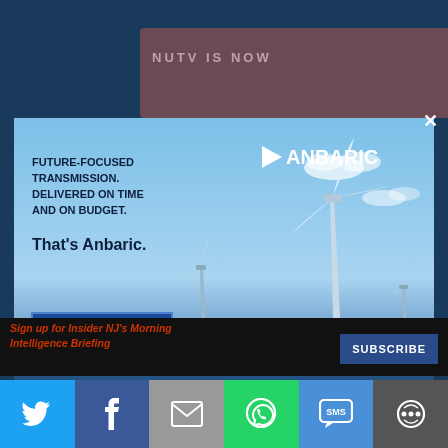NUTV IS NOW
[Figure (illustration): Anbaric advertisement showing offshore wind turbines against a blue sky with overlay text: FUTURE-FOCUSED TRANSMISSION. DELIVERED ON TIME AND ON BUDGET. That's Anbaric. With a LEARN MORE button and the ANBARIC logo with a triangle/arrow icon.]
Sign up for Insider NJ's Morning Intelligence Briefing
SUBSCRIBE
Social share bar with Twitter, Facebook, Email, WhatsApp, SMS, and More share buttons